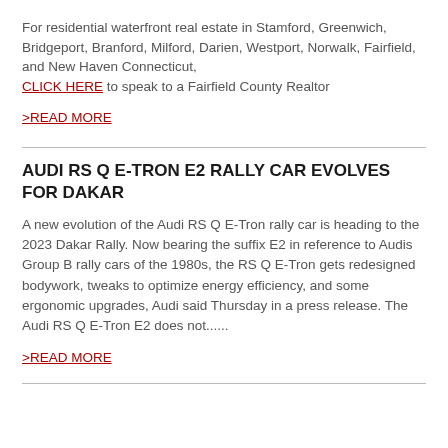For residential waterfront real estate in Stamford, Greenwich, Bridgeport, Branford, Milford, Darien, Westport, Norwalk, Fairfield, and New Haven Connecticut, CLICK HERE to speak to a Fairfield County Realtor
>READ MORE
AUDI RS Q E-TRON E2 RALLY CAR EVOLVES FOR DAKAR
A new evolution of the Audi RS Q E-Tron rally car is heading to the 2023 Dakar Rally. Now bearing the suffix E2 in reference to Audis Group B rally cars of the 1980s, the RS Q E-Tron gets redesigned bodywork, tweaks to optimize energy efficiency, and some ergonomic upgrades, Audi said Thursday in a press release. The Audi RS Q E-Tron E2 does not......
>READ MORE